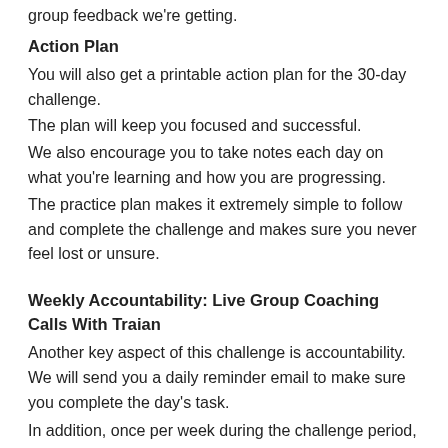group feedback we're getting.
Action Plan
You will also get a printable action plan for the 30-day challenge.
The plan will keep you focused and successful.
We also encourage you to take notes each day on what you're learning and how you are progressing.
The practice plan makes it extremely simple to follow and complete the challenge and makes sure you never feel lost or unsure.
Weekly Accountability: Live Group Coaching Calls With Traian
Another key aspect of this challenge is accountability. We will send you a daily reminder email to make sure you complete the day's task.
In addition, once per week during the challenge period, Traian will hold a weekly accountability “live group coaching calls” to make sure you’re successful.
You have this time to ask personalized questions ... seek advice ... bounce ideas off of him ... and even submit questions if you can’t